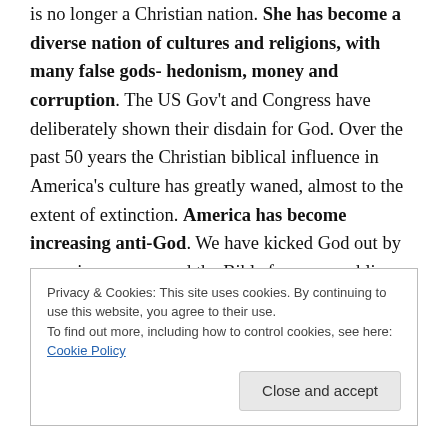is no longer a Christian nation. She has become a diverse nation of cultures and religions, with many false gods- hedonism, money and corruption. The US Gov't and Congress have deliberately shown their disdain for God. Over the past 50 years the Christian biblical influence in America's culture has greatly waned, almost to the extent of extinction. America has become increasing anti-God. We have kicked God out by removing prayers and the Bible from our public schools; some sought to remove God from our Pledge of Allegiance and from our coinage. We have removed the 10
Privacy & Cookies: This site uses cookies. By continuing to use this website, you agree to their use. To find out more, including how to control cookies, see here: Cookie Policy
Close and accept